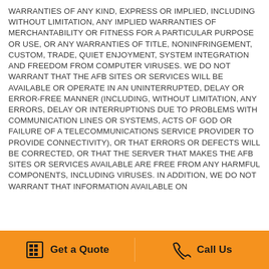WARRANTIES OF ANY KIND, EXPRESS OR IMPLIED, INCLUDING WITHOUT LIMITATION, ANY IMPLIED WARRANTIES OF MERCHANTABILITY OR FITNESS FOR A PARTICULAR PURPOSE OR USE, OR ANY WARRANTIES OF TITLE, NONINFRINGEMENT, CUSTOM, TRADE, QUIET ENJOYMENT, SYSTEM INTEGRATION AND FREEDOM FROM COMPUTER VIRUSES. WE DO NOT WARRANT THAT THE AFB SITES OR SERVICES WILL BE AVAILABLE OR OPERATE IN AN UNINTERRUPTED, DELAY OR ERROR-FREE MANNER (INCLUDING, WITHOUT LIMITATION, ANY ERRORS, DELAY OR INTERRUPTIONS DUE TO PROBLEMS WITH COMMUNICATION LINES OR SYSTEMS, ACTS OF GOD OR FAILURE OF A TELECOMMUNICATIONS SERVICE PROVIDER TO PROVIDE CONNECTIVITY), OR THAT ERRORS OR DEFECTS WILL BE CORRECTED, OR THAT THE SERVER THAT MAKES THE AFB SITES OR SERVICES AVAILABLE ARE FREE FROM ANY HARMFUL COMPONENTS, INCLUDING VIRUSES. IN ADDITION, WE DO NOT WARRANT THAT INFORMATION AVAILABLE ON
Get a Quote   Call Us